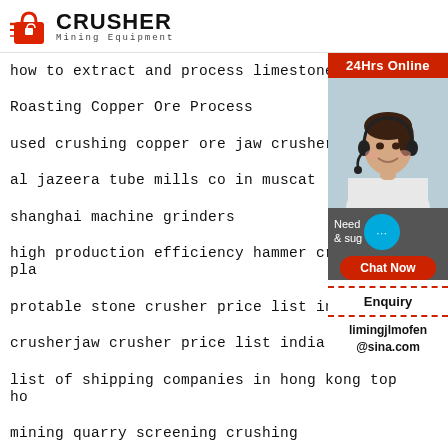[Figure (logo): Crusher Mining Equipment logo with red shopping bag icon and bold text]
how to extract and process limestone
Roasting Copper Ore Process
used crushing copper ore jaw crusher
al jazeera tube mills co in muscat
shanghai machine grinders
high production efficiency hammer crusher pla
protable stone crusher price list in india
crusherjaw crusher price list india
list of shipping companies in hong kong top ho
mining quarry screening crushing
Ebay Combination Mini Milling Machine
jaw crusher pe250x400 small stone jaw crush
[Figure (infographic): 24Hrs Online sidebar with photo of woman with headset, chat now button, enquiry section, and email limingjlmofen@sina.com]